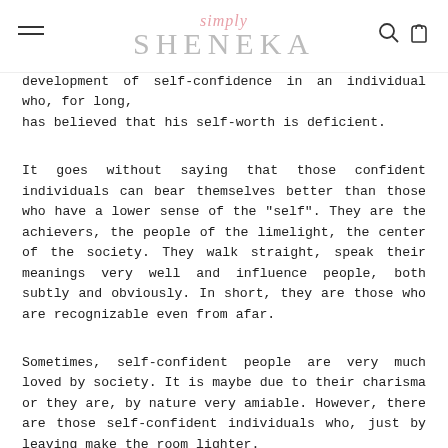simply SHENEKA
development of self-confidence in an individual who, for long, has believed that his self-worth is deficient.
It goes without saying that those confident individuals can bear themselves better than those who have a lower sense of the "self". They are the achievers, the people of the limelight, the center of the society. They walk straight, speak their meanings very well and influence people, both subtly and obviously. In short, they are those who are recognizable even from afar.
Sometimes, self-confident people are very much loved by society. It is maybe due to their charisma or they are, by nature very amiable. However, there are those self-confident individuals who, just by leaving make the room lighter.